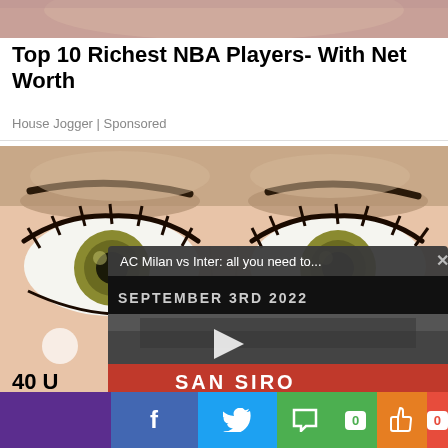[Figure (photo): Partial photo at top of page, skin tones visible]
Top 10 Richest NBA Players- With Net Worth
House Jogger | Sponsored
[Figure (illustration): Close-up anime/cartoon illustration of a woman's eyes with detailed eyelashes, overlaid with a video player panel showing 'AC Milan vs Inter: all you need to...' with date 'September 3rd 2022' and San Siro branding]
40 U...
Bef...
[Figure (screenshot): Social sharing bar at bottom: purple segment, Facebook blue, Twitter blue, green comment with 0, orange thumbs up, red badge with 0]